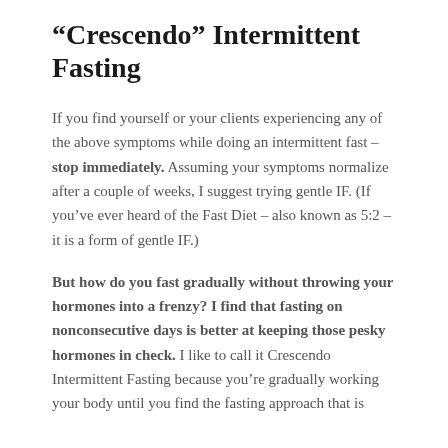“Crescendo” Intermittent Fasting
If you find yourself or your clients experiencing any of the above symptoms while doing an intermittent fast – stop immediately. Assuming your symptoms normalize after a couple of weeks, I suggest trying gentle IF. (If you’ve ever heard of the Fast Diet – also known as 5:2 – it is a form of gentle IF.)
But how do you fast gradually without throwing your hormones into a frenzy? I find that fasting on nonconsecutive days is better at keeping those pesky hormones in check. I like to call it Crescendo Intermittent Fasting because you’re gradually working your body until you find the fasting approach that is